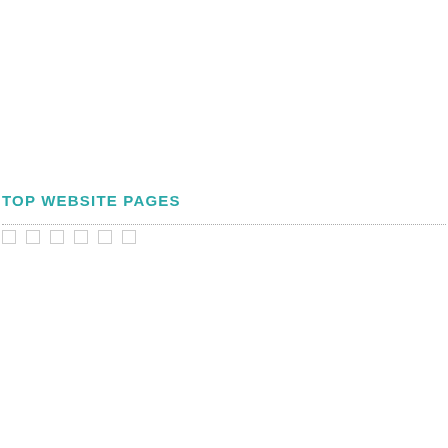TOP WEBSITE PAGES
[Figure (other): Six empty checkbox squares arranged horizontally below the section header]